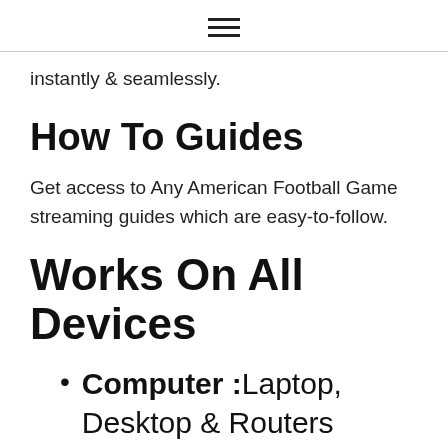≡
instantly & seamlessly.
How To Guides
Get access to Any American Football Game streaming guides which are easy-to-follow.
Works On All Devices
Computer : Laptop, Desktop & Routers